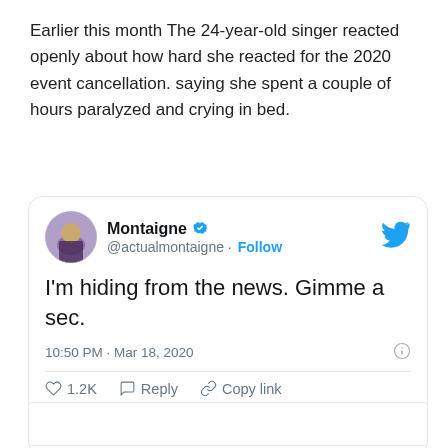Earlier this month The 24-year-old singer reacted openly about how hard she reacted for the 2020 event cancellation. saying she spent a couple of hours paralyzed and crying in bed.
[Figure (screenshot): Tweet from @actualmontaigne (Montaigne, verified) reading: I'm hiding from the news. Gimme a sec. Posted at 10:50 PM · Mar 18, 2020. 1.2K likes. Reply. Copy link. Read 111 replies.]